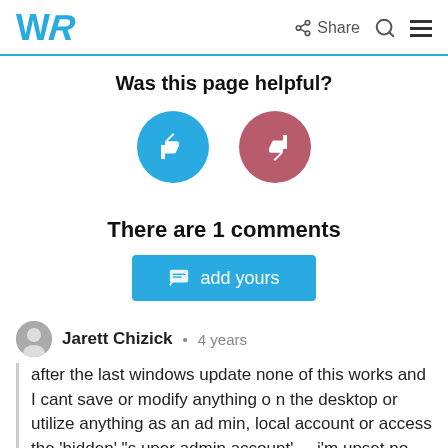WR | Share | Search | Menu
Was this page helpful?
[Figure (illustration): Two circular buttons: blue thumbs-up on the left and red/rose thumbs-down on the right]
There are 1 comments
add yours
Jarett Chizick • 4 years
after the last windows update none of this works and I cant save or modify anything on the desktop or utilize anything as an admin, local account or access the 'hidden' "super admin account'.... i'm upset no one h